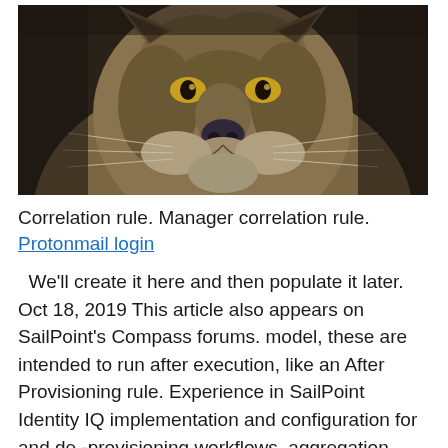[Figure (photo): Close-up front-facing photograph of a lion or large cat, showing its face, nose, whiskers, and amber eyes against a dark blurred background.]
Correlation rule. Manager correlation rule.
Protonmail login
We'll create it here and then populate it later. Oct 18, 2019 This article also appears on SailPoint's Compass forums. model, these are intended to run after execution, like an After Provisioning rule. Experience in SailPoint Identity IQ implementation and configuration for and de -provisioning workflows, aggregation, tasks, rules and roles in